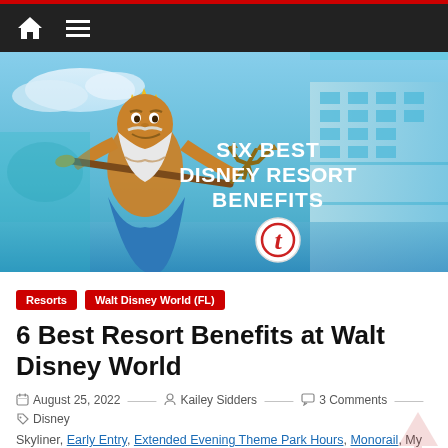Navigation bar with home and menu icons
[Figure (photo): Hero image showing a King Triton statue holding a trident, with text overlay reading 'SIX BEST DISNEY RESORT BENEFITS' and a circular 't' logo, set against a blue sky and Disney Resort building background.]
Resorts  Walt Disney World (FL)
6 Best Resort Benefits at Walt Disney World
August 25, 2022  Kailey Sidders  3 Comments  Disney Skyliner, Early Entry, Extended Evening Theme Park Hours, Monorail, My Disney Experience